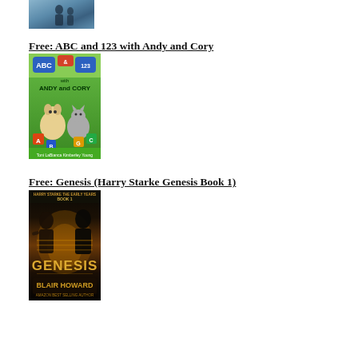[Figure (photo): Partial view of a book cover showing two silhouetted figures against a blue/grey background]
Free: ABC and 123 with Andy and Cory
[Figure (photo): Book cover for 'ABC and 123 with Andy and Cory' showing two animals (a dog and a cat) surrounded by alphabet blocks on a green background]
Free: Genesis (Harry Starke Genesis Book 1)
[Figure (photo): Book cover for 'Genesis' by Blair Howard showing dramatic dark figures with orange/gold lighting, with 'GENESIS' in large letters and 'BLAIR HOWARD' at the bottom]